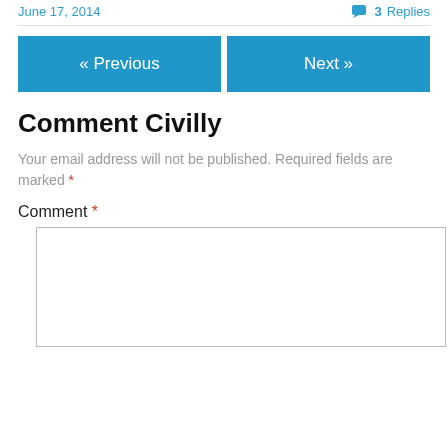June 17, 2014    3 Replies
« Previous    Next »
Comment Civilly
Your email address will not be published. Required fields are marked *
Comment *